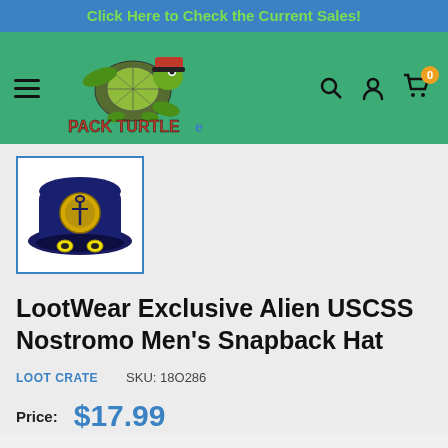Click Here to Check the Current Sales!
[Figure (logo): Pack Turtle e-commerce logo with turtle mascot wearing pirate hat]
[Figure (photo): LootWear Exclusive Alien USCSS Nostromo Men's Snapback Hat product thumbnail — navy blue captain hat with gold insignia]
LootWear Exclusive Alien USCSS Nostromo Men's Snapback Hat
LOOT CRATE   SKU: 18O286
Price:  $17.99